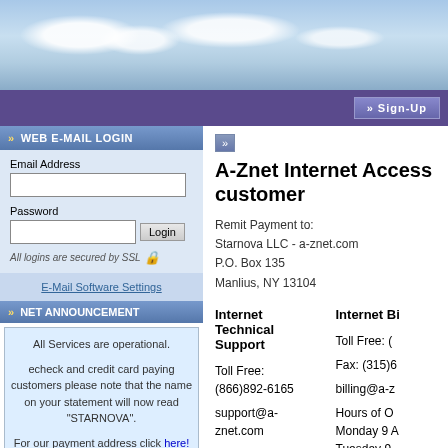Sign-Up
WEB E-MAIL LOGIN
Email Address
Password
Login
All logins are secured by SSL
E-Mail Software Settings
NET ANNOUNCEMENT
All Services are operational.

echeck and credit card paying customers please note that the name on your statement will now read "STARNOVA".

For our payment address click here!

Please keep an eye out for Phishing scams. Remember we will never ask you for your username and password via Email.
User Service Agreement
Acceptable Use Policy
A-Znet Internet Access customer
Remit Payment to:
Starnova LLC - a-znet.com
P.O. Box 135
Manlius, NY 13104
Internet Technical Support

Toll Free: (866)892-6165

support@a-znet.com

Hours of Operation:
Monday 9 A.M. to 6 P.M.
Tuesday 9 A.M. to 6 P.M.
Wednesday 9 A.M. to 6 P.M.
Thursday 9 A.M. to 6 P.M.
Friday 9 A.M. to 6 P.M.
Saturday Closed
Sunday Closed
Internet Billing

Toll Free: (
Fax: (315)6

billing@a-z

Hours of O
Monday 9 A
Tuesday 9
Wednesday
Thursday S
Friday 9 A.
Saturday Cl
Sunday Clo